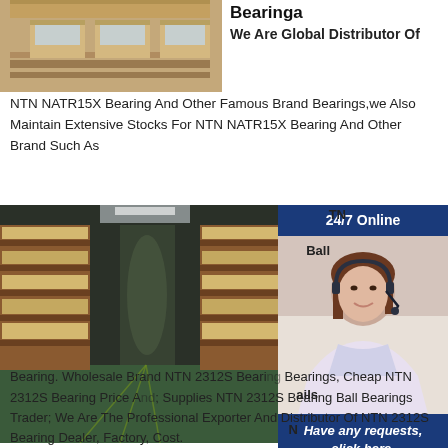[Figure (photo): Wooden pallets with packaged bearings stacked on them in a warehouse/storage area]
Bearinga We Are Global Distributor Of NTN NATR15X Bearing And Other Famous Brand Bearings,we Also Maintain Extensive Stocks For NTN NATR15X Bearing And Other Brand Such As
[Figure (photo): Large warehouse interior with tall shelving racks filled with boxed bearing inventory, long aisle perspective]
[Figure (photo): Customer service agent, woman with headset smiling, with 24/7 Online banner and Have any requests, click here. panel and Quotation button]
Bearing. Wholesale Brand NTN 2312S Bearing Bearings, Cheap NTN 2312S Bearing Price; Supplies NTN 2312S Bearing Ball Bearings Trader; We Are The Professional Exporter And Distributor Of NTN 2312S Bearing Dealer, Factory, Cost.